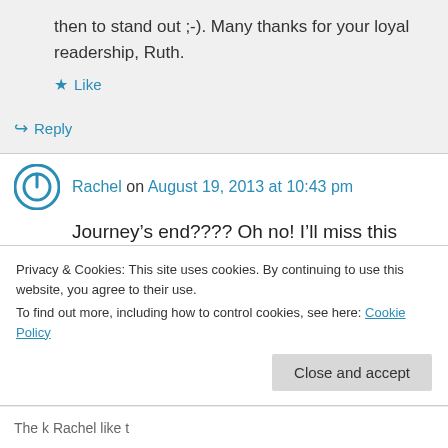then to stand out ;-). Many thanks for your loyal readership, Ruth.
Like
Reply
Rachel on August 19, 2013 at 10:43 pm
Journey’s end???? Oh no! I’ll miss this series, as well!
Like
Privacy & Cookies: This site uses cookies. By continuing to use this website, you agree to their use.
To find out more, including how to control cookies, see here: Cookie Policy
Close and accept